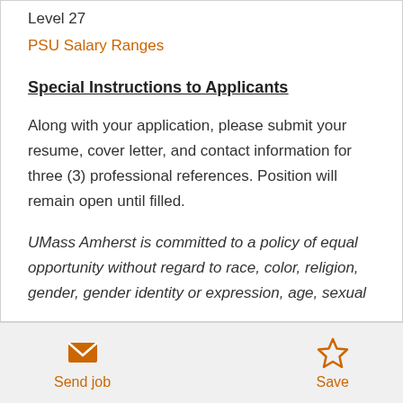Level 27
PSU Salary Ranges
Special Instructions to Applicants
Along with your application, please submit your resume, cover letter, and contact information for three (3) professional references. Position will remain open until filled.
UMass Amherst is committed to a policy of equal opportunity without regard to race, color, religion, gender, gender identity or expression, age, sexual
Send job
Save